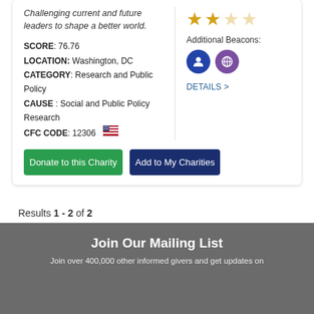Challenging current and future leaders to shape a better world.
SCORE: 76.76
LOCATION: Washington, DC
CATEGORY: Research and Public Policy
CAUSE: Social and Public Policy Research
CFC CODE: 12306
[Figure (infographic): 2 filled gold stars and 2 empty gold stars rating, plus Additional Beacons section with blue and purple icon circles, and a DETAILS > link]
Donate to this Charity
Add to My Charities
Results 1 - 2 of 2
Join Our Mailing List
Join over 400,000 other informed givers and get updates on